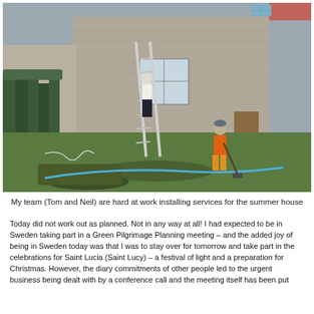[Figure (photo): Two workers in a back garden beside a stone building. One person in a white top is climbing a ladder leaning against the building wall. Another person wearing an orange hi-vis jacket and orange trousers is working with a spade near a blue pipe/hose laid across the grass. There is a green wooden fence on the left side.]
My team (Tom and Neil) are hard at work installing services for the summer house
Today did not work out as planned. Not in any way at all! I had expected to be in Sweden taking part in a Green Pilgrimage Planning meeting – and the added joy of being in Sweden today was that I was to stay over for tomorrow and take part in the celebrations for Saint Lucia (Saint Lucy) – a festival of light and a preparation for Christmas. However, the diary commitments of other people led to the urgent business being dealt with by a conference call and the meeting itself has been put